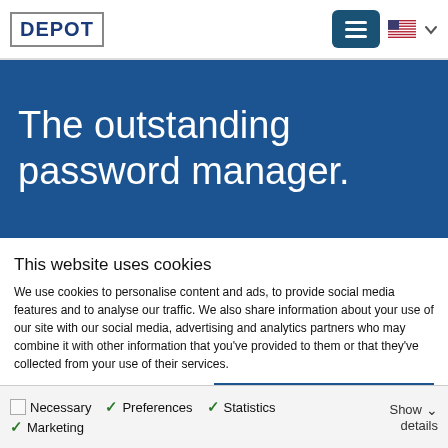DEPOT
The outstanding password manager.
This website uses cookies
We use cookies to personalise content and ads, to provide social media features and to analyse our traffic. We also share information about your use of our site with our social media, advertising and analytics partners who may combine it with other information that you've provided to them or that they've collected from your use of their services.
Allow all cookies
Allow selection
Use necessary cookies only
Necessary  Preferences  Statistics  Marketing  Show details